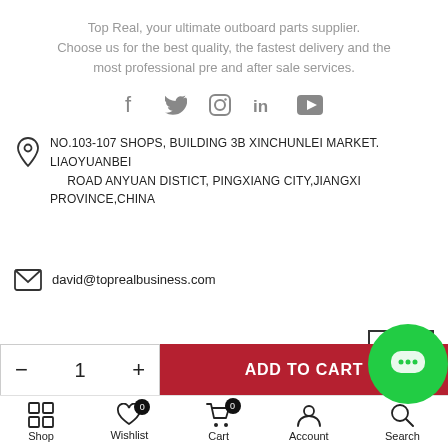Top Real, your ultimate outboard parts supplier. Choose us for the best quality, the fastest delivery and the most professional pre and after sale services.
[Figure (infographic): Social media icons: Facebook, Twitter, Instagram, LinkedIn, YouTube]
NO.103-107 SHOPS, BUILDING 3B XINCHUNLEI MARKET. LIAOYUANBEI ROAD ANYUAN DISTICT, PINGXIANG CITY,JIANGXI PROVINCE,CHINA
david@toprealbusiness.com
[Figure (other): Add to Cart bar with quantity selector (- 1 +) and red ADD TO CART button]
[Figure (other): Green chat bubble with ellipsis icon]
Shop | Wishlist (0) | Cart (0) | Account | Search